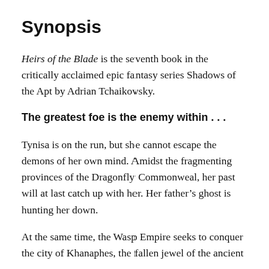Synopsis
Heirs of the Blade is the seventh book in the critically acclaimed epic fantasy series Shadows of the Apt by Adrian Tchaikovsky.
The greatest foe is the enemy within . . .
Tynisa is on the run, but she cannot escape the demons of her own mind. Amidst the fragmenting provinces of the Dragonfly Commonweal, her past will at last catch up with her. Her father’s ghost is hunting her down.
At the same time, the Wasp Empire seeks to conquer the city of Khanaphes, the fallen jewel of the ancient